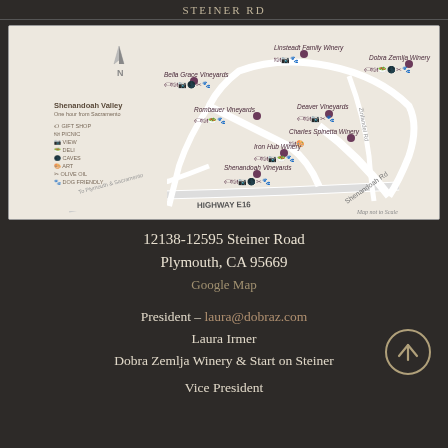STEINER RD
[Figure (map): Shenandoah Valley winery map showing locations of Bella Grace Vineyards, Linsteadt Family Winery, Dobra Zemlja Winery, Rombauer Vineyards, Deaver Vineyards, Charles Spinetta Winery, Iron Hub Winery, Shenandoah Vineyards, with legend for Gift Shop, Picnic, View, Deli, Caves, Art, Olive Oil, Dog Friendly. Highway E16 and Shenandoah Rd labeled. Map not to Scale.]
12138-12595 Steiner Road
Plymouth, CA 95669
Google Map
President – laura@dobraz.com
Laura Irmer
Dobra Zemlja Winery & Start on Steiner
Vice President